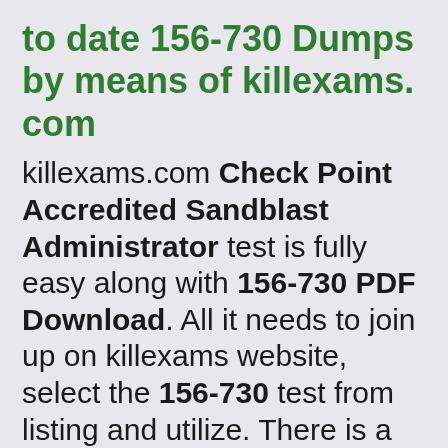to date 156-730 Dumps by means of killexams. com
killexams.com Check Point Accredited Sandblast Administrator test is fully easy along with 156-730 PDF Download. All it needs to join up on killexams website, select the 156-730 test from listing and utilize. There is a small amount for the. obtain 156-730 Exam Questions along with Study Guide Download with